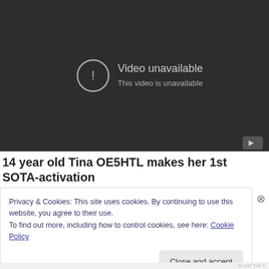[Figure (screenshot): YouTube video player showing 'Video unavailable' error message with exclamation icon and YouTube logo button in bottom right corner. Dark background.]
14 year old Tina OE5HTL makes her 1st SOTA-activation
Privacy & Cookies: This site uses cookies. By continuing to use this website, you agree to their use.
To find out more, including how to control cookies, see here: Cookie Policy
Close and accept